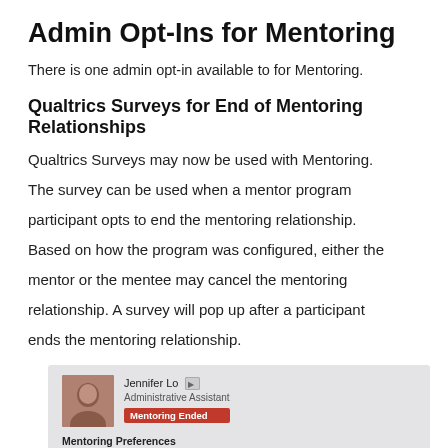Admin Opt-Ins for Mentoring
There is one admin opt-in available to for Mentoring.
Qualtrics Surveys for End of Mentoring Relationships
Qualtrics Surveys may now be used with Mentoring. The survey can be used when a mentor program participant opts to end the mentoring relationship. Based on how the program was configured, either the mentor or the mentee may cancel the mentoring relationship. A survey will pop up after a participant ends the mentoring relationship.
[Figure (screenshot): Screenshot showing a user profile card for Jennifer Lo, Administrative Assistant, with a red 'Mentoring Ended' badge, and a 'Mentoring Preferences' section header below.]